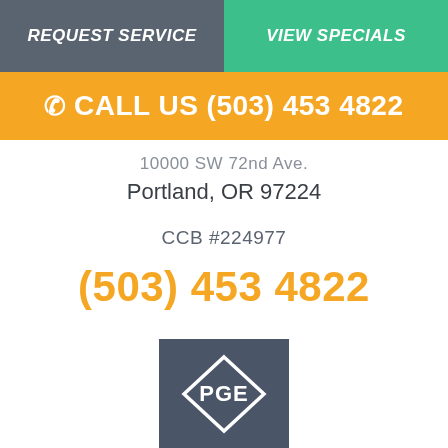REQUEST SERVICE | VIEW SPECIALS
CALL US (503) 453 4822
10000 SW 72nd Ave.
Portland, OR 97224
CCB #224977
(503) 453 4822
[Figure (logo): PGE logo on dark blue/grey square background, diamond shape with PGE text inside]